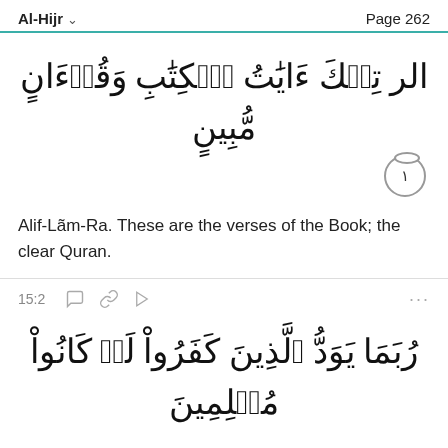Al-Hijr   Page 262
الر تِلْكَ ءَايَتُ الْكِتَبِ وَقُرْءَانٍ مُّبِينٍ
Alif-Lãm-Ra. These are the verses of the Book; the clear Quran.
15:2
رُبَمَا يَوَدُّ الَّذِينَ كَفَرُوا لَوْ كَانُوا مُسْلِمِينَ